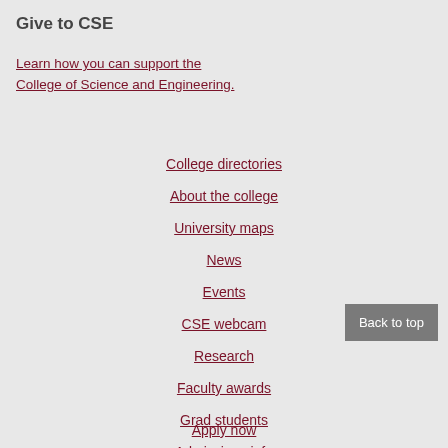Give to CSE
Learn how you can support the College of Science and Engineering.
College directories
About the college
University maps
News
Events
CSE webcam
Research
Faculty awards
Grad students
Admissions info
Visit campus
Apply now
Back to top